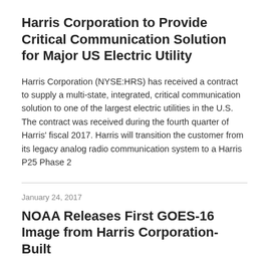Harris Corporation to Provide Critical Communication Solution for Major US Electric Utility
Harris Corporation (NYSE:HRS) has received a contract to supply a multi-state, integrated, critical communication solution to one of the largest electric utilities in the U.S. The contract was received during the fourth quarter of Harris' fiscal 2017. Harris will transition the customer from its legacy analog radio communication system to a Harris P25 Phase 2
January 24, 2017
NOAA Releases First GOES-16 Image from Harris Corporation-Built